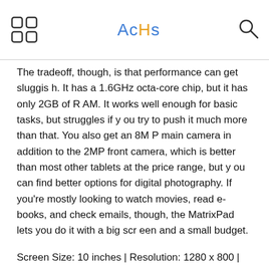AcHs
The tradeoff, though, is that performance can get sluggish. It has a 1.6GHz octa-core chip, but it has only 2GB of RAM. It works well enough for basic tasks, but struggles if you try to push it much more than that. You also get an 8MP main camera in addition to the 2MP front camera, which is better than most other tablets at the price range, but you can find better options for digital photography. If you're mostly looking to watch movies, read e-books, and check emails, though, the MatrixPad lets you do it with a big screen and a small budget.
Screen Size: 10 inches | Resolution: 1280 x 800 | Processor: Octa-core 1.6GHz | Camera: Front, 2MP; Rear, 8MP
Final Verdict
If you can look past the less than stellar Amazon library of